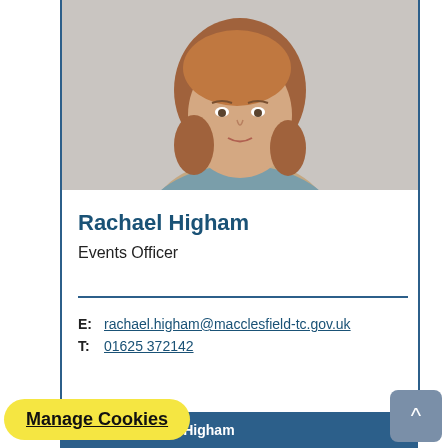[Figure (photo): Headshot photo of Rachael Higham, a woman with auburn/light brown curly hair, wearing a blue-grey cardigan, against a light grey background.]
Rachael Higham
Events Officer
E: rachael.higham@macclesfield-tc.gov.uk
T: 01625 372142
e about Rachael Higham